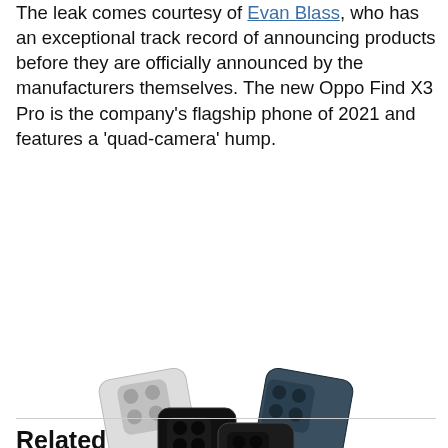The leak comes courtesy of Evan Blass, who has an exceptional track record of announcing products before they are officially announced by the manufacturers themselves. The new Oppo Find X3 Pro is the company's flagship phone of 2021 and features a 'quad-camera' hump.
[Figure (photo): Three Oppo Find X3 Pro smartphones shown from the back, in white, dark blue/gray, and black colorways, arranged in a fan-like display showing their quad-camera humps. A watermark 'voice' is visible on the image.]
Related